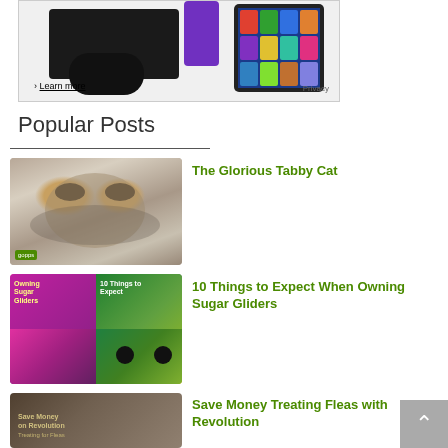[Figure (photo): Advertisement banner showing a PlayStation 4 console with controller, a purple device, and a tablet/Kindle Fire with colorful app icons. Has a 'Learn more' link and 'Privacy' text.]
Popular Posts
[Figure (photo): Thumbnail image of a tabby kitten lying down, looking at camera. Small green badge in bottom left corner.]
The Glorious Tabby Cat
[Figure (photo): Thumbnail image showing two book/article covers side by side: 'Owning Sugar Gliders' on the left with colorful animal imagery, and '10 Things to Expect' on the right with a sugar glider face.]
10 Things to Expect When Owning Sugar Gliders
[Figure (photo): Thumbnail image of a cat with overlaid text 'Save Money on Revolution' on a dark background.]
Save Money Treating Fleas with Revolution